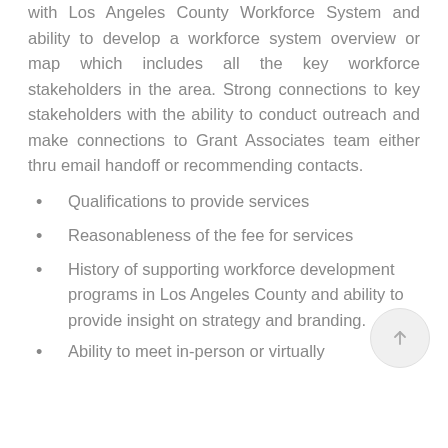with Los Angeles County Workforce System and ability to develop a workforce system overview or map which includes all the key workforce stakeholders in the area. Strong connections to key stakeholders with the ability to conduct outreach and make connections to Grant Associates team either thru email handoff or recommending contacts.
Qualifications to provide services
Reasonableness of the fee for services
History of supporting workforce development programs in Los Angeles County and ability to provide insight on strategy and branding.
Ability to meet in-person or virtually